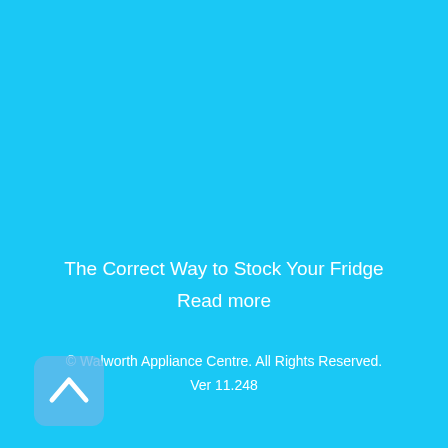The Correct Way to Stock Your Fridge
Read more
© Walworth Appliance Centre. All Rights Reserved.
Ver 11.248
[Figure (illustration): Back to top arrow button — rounded rectangle with upward chevron/caret icon in white]